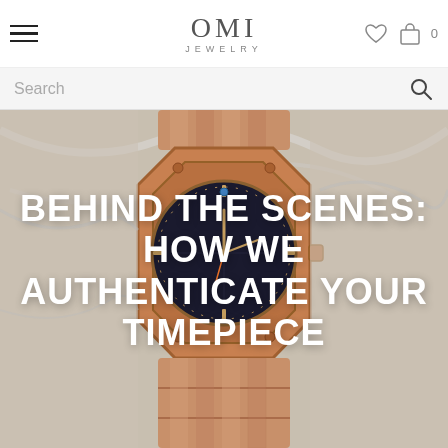OMI JEWELRY
Search
[Figure (photo): Close-up photo of a luxury rose gold watch (Audemars Piguet Royal Oak style) with dark black dial and integrated bracelet, placed on a white marble surface.]
BEHIND THE SCENES: HOW WE AUTHENTICATE YOUR TIMEPIECE